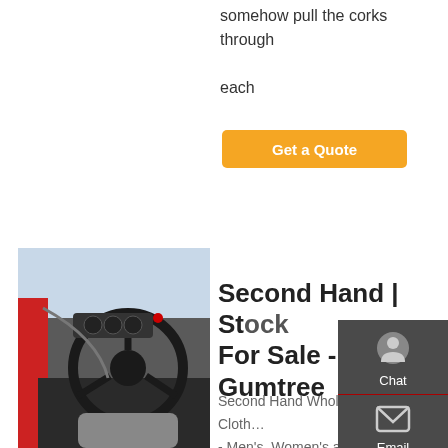somehow pull the corks through each
Get a Quote
[Figure (photo): Interior view of a truck cab showing steering wheel and dashboard]
Second Hand | Stock For Sale - Gumtree
Second Hand Wholesale Clothing - Men's, Women's and Kid's per KG. UK Wholesaler of second hand clothing. We offer men's, women's, kids, branded clothing and new with tags, from £1-11 per kilo. We can accommodate, Cream / A grade, B grade, winter,